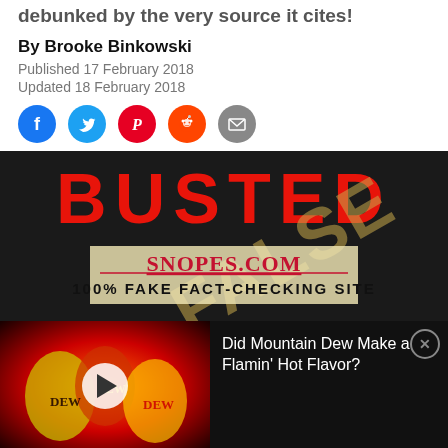debunked by the very source it cites!
By Brooke Binkowski
Published 17 February 2018
Updated 18 February 2018
[Figure (infographic): Social media share icons: Facebook (blue circle), Twitter (light blue circle), Pinterest (red circle), Reddit (orange circle), Email (grey circle with envelope)]
[Figure (photo): Image showing text BUSTED in large red letters on black background, overlaid with a Snopes.com watermark logo and text '100% FAKE FACT-CHECKING SITE' in black, with a diagonal gold/tan FALSE watermark stamp]
[Figure (screenshot): Video thumbnail showing Mountain Dew Flamin Hot branded cans in red/yellow/green colors with a play button, next to a dark panel with text 'Did Mountain Dew Make a Flamin Hot Flavor?' and a close X button]
Breaking: One Year at the Center of the Infodemic